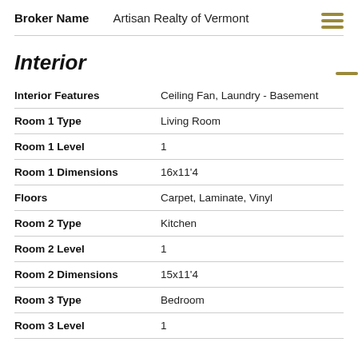Broker Name: Artisan Realty of Vermont
Interior
| Field | Value |
| --- | --- |
| Interior Features | Ceiling Fan, Laundry - Basement |
| Room 1 Type | Living Room |
| Room 1 Level | 1 |
| Room 1 Dimensions | 16x11'4 |
| Floors | Carpet, Laminate, Vinyl |
| Room 2 Type | Kitchen |
| Room 2 Level | 1 |
| Room 2 Dimensions | 15x11'4 |
| Room 3 Type | Bedroom |
| Room 3 Level | 1 |